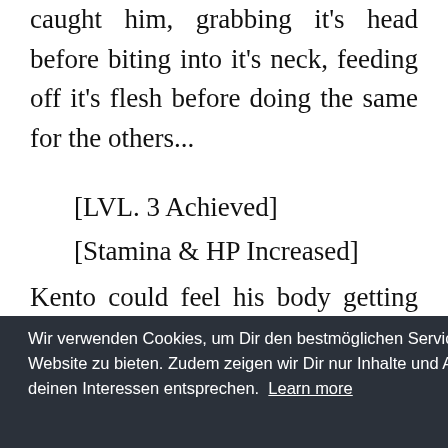back inside the cave when the undead man caught him, grabbing it's head before biting into it's neck, feeding off it's flesh before doing the same for the others...
[LVL. 3 Achieved]
[Stamina & HP Increased]
Kento could feel his body getting stronger
Wir verwenden Cookies, um Dir den bestmöglichen Service auf unserer Website zu bieten. Zudem zeigen wir Dir nur Inhalte und Anzeigen, die deinen Interessen entsprechen. Learn more
ght, it
dy to
how
ealing
and
Ich stimme zu
o kill
everything within the cave"